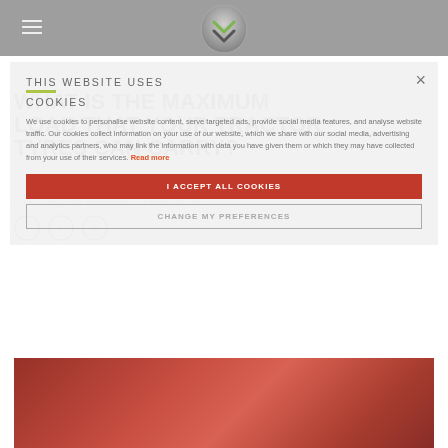Navigation bar with hamburger menu and logo
WHAT IS THE MAXIMUM LOAD THAT YOUR TRACTOR TYRES CAN CARRY?
POST BY: TRACTOR TYRE EXPERT | 17 FEBRUARY 2022
[Figure (screenshot): Cookie consent overlay dialog on a website]
THIS WEBSITE USES COOKIES
We use cookies to personalise website content, serve targeted ads, provide social media features, and analyse website traffic. Our cookies collect information on your use of our website, which we share with our social media, advertising and analytics partners, who may link the information with data you have given them or which they may have collected from your use of their services. Read more
I ACCEPT ALL COOKIES
CHANGE MY PREFERENCES